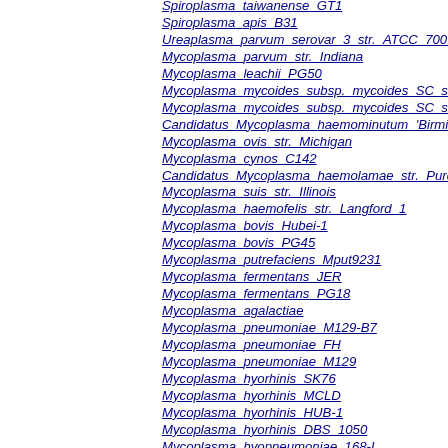Spiroplasma taiwanense_GT1
Spiroplasma_apis_B31
Ureaplasma_parvum_serovar_3_str._ATCC_70097
Mycoplasma_parvum_str._Indiana
Mycoplasma_leachii_PG50
Mycoplasma_mycoides_subsp._mycoides_SC_str.
Mycoplasma_mycoides_subsp._mycoides_SC_str.
Candidatus_Mycoplasma_haemominutum_'Birmin
Mycoplasma_ovis_str._Michigan
Mycoplasma_cynos_C142
Candidatus_Mycoplasma_haemolamae_str._Purd
Mycoplasma_suis_str._Illinois
Mycoplasma_haemofelis_str._Langford_1
Mycoplasma_bovis_Hubei-1
Mycoplasma_bovis_PG45
Mycoplasma_putrefaciens_Mput9231
Mycoplasma_fermentans_JER
Mycoplasma_fermentans_PG18
Mycoplasma_agalactiae
Mycoplasma_pneumoniae_M129-B7
Mycoplasma_pneumoniae_FH
Mycoplasma_pneumoniae_M129
Mycoplasma_hyorhinis_SK76
Mycoplasma_hyorhinis_MCLD
Mycoplasma_hyorhinis_HUB-1
Mycoplasma_hyorhinis_DBS_1050
Mycoplasma_hyopneumoniae_168-L
Mycoplasma_hyopneumoniae_7422
Mycoplasma_hyopneumoniae_232
Mycoplasma_hyopneumoniae_7448
Mycoplasma_hyopneumoniae_1